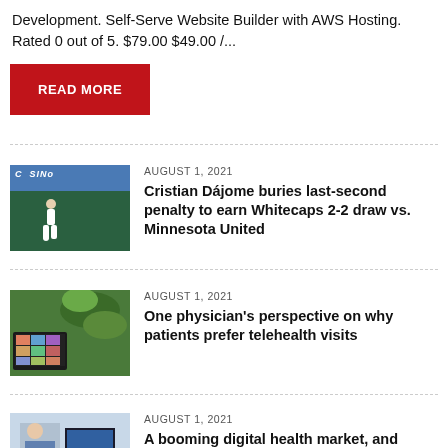Development. Self-Serve Website Builder with AWS Hosting. Rated 0 out of 5. $79.00 $49.00 /...
READ MORE
AUGUST 1, 2021
Cristian Dájome buries last-second penalty to earn Whitecaps 2-2 draw vs. Minnesota United
[Figure (photo): Soccer player on field with casino sign in background]
AUGUST 1, 2021
One physician's perspective on why patients prefer telehealth visits
[Figure (photo): Computer screen with video call grid and plant in foreground]
AUGUST 1, 2021
A booming digital health market, and
[Figure (photo): Person at desk with computer]